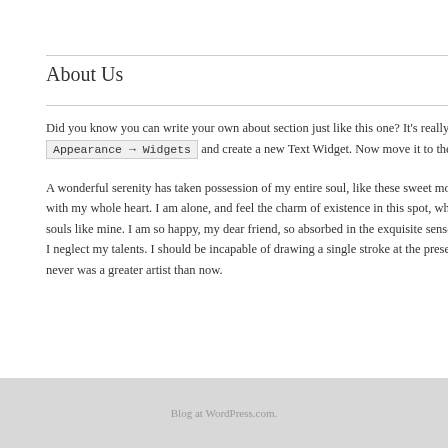About Us
Pages
Did you know you can write your own about section just like this one? It's really easy. Navigate to Appearance → Widgets and create a new Text Widget. Now move it to the Footer 1 sidebar.
A wonderful serenity has taken possession of my entire soul, like these sweet mornings of spring which I enjoy with my whole heart. I am alone, and feel the charm of existence in this spot, which was created for the bliss of souls like mine. I am so happy, my dear friend, so absorbed in the exquisite sense of mere tranquil existence, that I neglect my talents. I should be incapable of drawing a single stroke at the present moment; and yet I feel that I never was a greater artist than now.
About the
Annual A Procedure
Members
Members
Past Awa
Blog at WordPress.com.